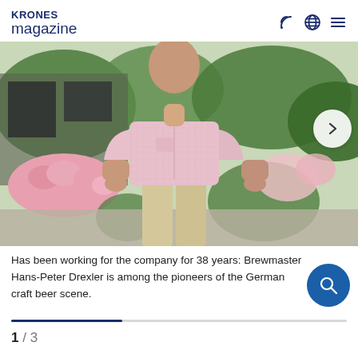KRONES magazine
[Figure (photo): A man in a pink short-sleeve button-up shirt and khaki pants standing outdoors in front of greenery and pink flowers. His face/head is cropped out. A circular navigation arrow button (right arrow) is visible at the right edge of the image.]
Has been working for the company for 38 years: Brewmaster Hans-Peter Drexler is among the pioneers of the German craft beer scene.
1 / 3